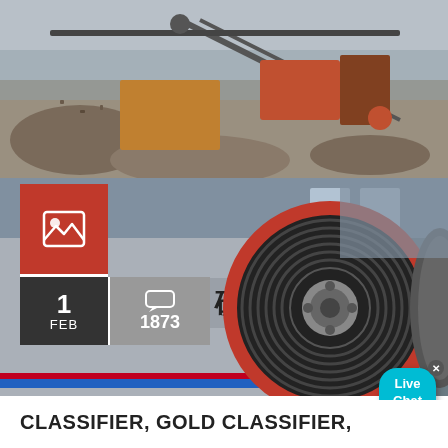[Figure (photo): Aerial view of outdoor mining/crushing site with heavy machinery, jaw crusher equipment, stone aggregates and rock piles in an industrial yard]
[Figure (photo): Close-up of a large jaw crusher flywheel with red rim and black ribbed pulley, taken inside a factory. Chinese characters visible on machine body. Red image icon overlay box, date box showing '1 FEB', and comment count '1873' overlaid in bottom-left corner. Live Chat bubble in top-right.]
CLASSIFIER, GOLD CLASSIFIER,